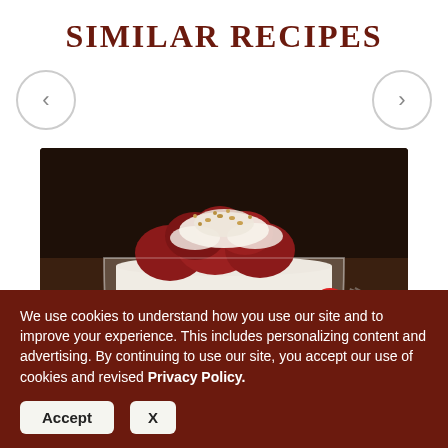SIMILAR RECIPES
[Figure (photo): A layered red velvet trifle dessert in a glass bowl, topped with whipped cream and crumbled red cake pieces, with red Christmas ornaments in the background]
We use cookies to understand how you use our site and to improve your experience. This includes personalizing content and advertising. By continuing to use our site, you accept our use of cookies and revised Privacy Policy.
Accept   X